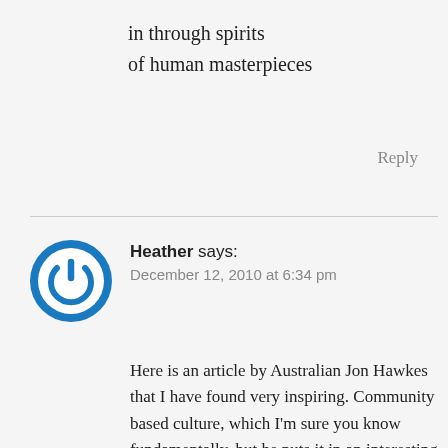in through spirits
of human masterpieces
Reply
Heather says:
December 12, 2010 at 6:34 pm
Here is an article by Australian Jon Hawkes that I have found very inspiring. Community based culture, which I'm sure you know fundamentally, but he puts it in an interesting perspective.
http://culturaldevelopment.net.au/down